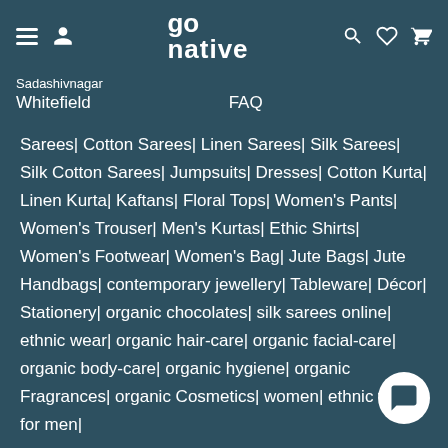go native
Sadashivnagar
Whitefield	FAQ
Sarees| Cotton Sarees| Linen Sarees| Silk Sarees| Silk Cotton Sarees| Jumpsuits| Dresses| Cotton Kurta| Linen Kurta| Kaftans| Floral Tops| Women's Pants| Women's Trouser| Men's Kurtas| Ethic Shirts| Women's Footwear| Women's Bag| Jute Bags| Jute Handbags| contemporary jewellery| Tableware| Décor| Stationery| organic chocolates| silk sarees online| ethnic wear| organic hair-care| organic facial-care| organic body-care| organic hygiene| organic Fragrances| organic Cosmetics| women| ethnic wear for men|